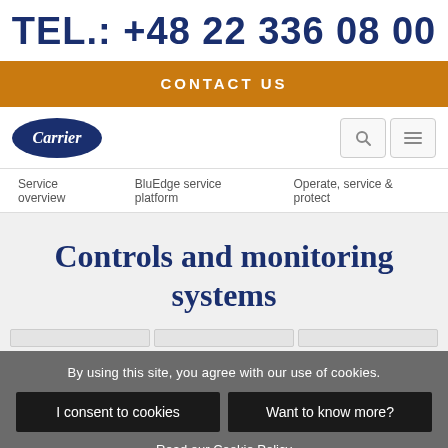TEL.: +48 22 336 08 00
CONTACT US
[Figure (logo): Carrier company logo — blue oval with white italic text 'Carrier']
Service overview   BluEdge service platform   Operate, service & protect
Controls and monitoring systems
By using this site, you agree with our use of cookies.
I consent to cookies
Want to know more?
Read our Cookie Policy